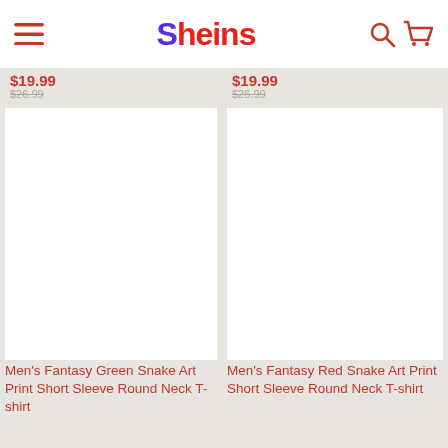Sheins — navigation header with hamburger menu, logo, search and cart icons
$19.99
$19.99
[Figure (photo): White product image placeholder for Men's Fantasy Green Snake Art Print Short Sleeve Round Neck T-shirt]
[Figure (photo): White product image placeholder for Men's Fantasy Red Snake Art Print Short Sleeve Round Neck T-shirt]
Men's Fantasy Green Snake Art Print Short Sleeve Round Neck T-shirt
Men's Fantasy Red Snake Art Print Short Sleeve Round Neck T-shirt